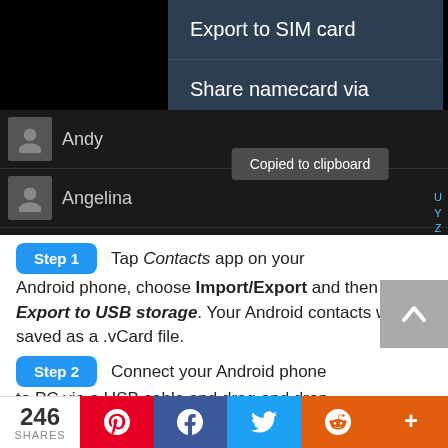[Figure (screenshot): Android phone screenshot showing contacts app menu with 'Export to SIM card' and 'Share namecard via' options, a 'Copied to clipboard' toast notification, and contact entries for Andy and Angelina]
Step 1  Tap Contacts app on your Android phone, choose Import/Export and then select Export to USB storage. Your Android contacts will be saved as a .vCard file.
Step 2  Connect your Android phone to PC via a USB cable and drag and drop
246 SHARES  [Pinterest] [Facebook] [Twitter] [Reddit] [More]